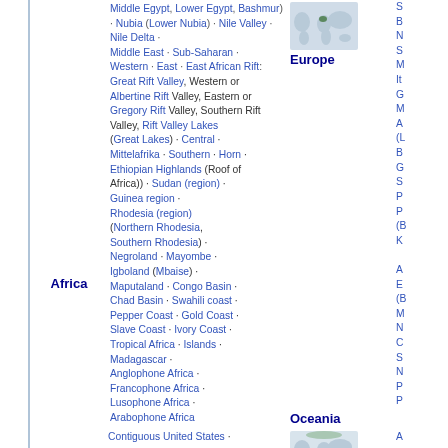Middle Egypt, Lower Egypt, Bashmur · Nubia (Lower Nubia) · Nile Valley · Nile Delta · Middle East · Sub-Saharan · Western · East · East African Rift: Great Rift Valley, Western or Albertine Rift Valley, Eastern or Gregory Rift Valley, Southern Rift Valley, Rift Valley Lakes (Great Lakes) · Central · Mittelafrika · Southern · Horn · Ethiopian Highlands (Roof of Africa)) · Sudan (region) · Guinea region · Rhodesia (region) (Northern Rhodesia, Southern Rhodesia) · Negroland · Mayombe · Igboland (Mbaise) · Maputaland · Congo Basin · Chad Basin · Swahili coast · Pepper Coast · Gold Coast · Slave Coast · Ivory Coast · Tropical Africa · Islands · Madagascar · Anglophone Africa · Francophone Africa · Lusophone Africa · Arabophone Africa
Africa
[Figure (map): Small world map with Europe region highlighted in green]
Europe
Contiguous United States ·
[Figure (map): Small world map for Polar/Oceania region]
Oceania
Polar